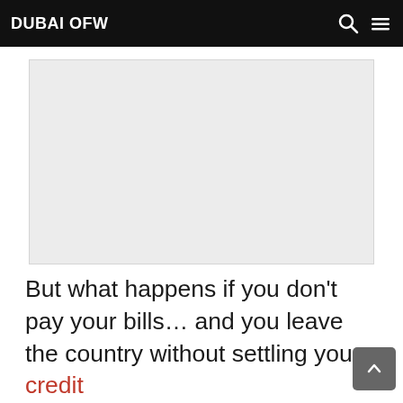DUBAI OFW
[Figure (other): Advertisement placeholder / blank gray ad box]
But what happens if you don't pay your bills… and you leave the country without settling your credit